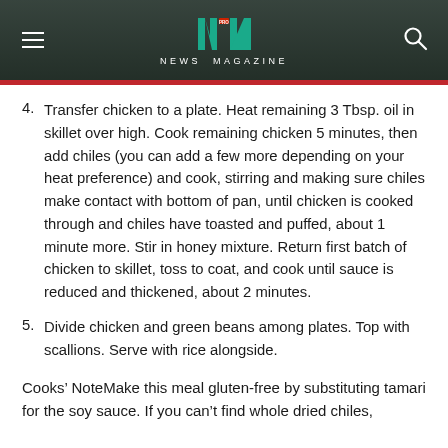NEWS MAGAZINE
4. Transfer chicken to a plate. Heat remaining 3 Tbsp. oil in skillet over high. Cook remaining chicken 5 minutes, then add chiles (you can add a few more depending on your heat preference) and cook, stirring and making sure chiles make contact with bottom of pan, until chicken is cooked through and chiles have toasted and puffed, about 1 minute more. Stir in honey mixture. Return first batch of chicken to skillet, toss to coat, and cook until sauce is reduced and thickened, about 2 minutes.
5. Divide chicken and green beans among plates. Top with scallions. Serve with rice alongside.
Cooks’ NoteMake this meal gluten-free by substituting tamari for the soy sauce. If you can’t find whole dried chiles,